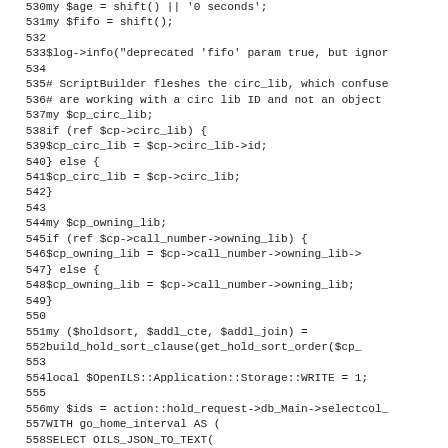[Figure (screenshot): Source code listing in monospace font with line numbers 530-562, showing Perl code for a library circulation system including variable assignments, conditionals, and a SQL query construction.]